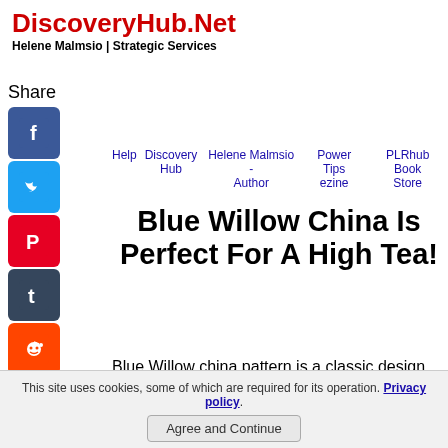DiscoveryHub.Net
Helene Malmsio | Strategic Services
Share
Help   Discovery Hub   Helene Malmsio - Author   Power Tips ezine   PLRhub Book Store
Blue Willow China Is Perfect For A High Tea!
Blue Willow china pattern is a classic design that is a favorite with most people once they see them.
This site uses cookies, some of which are required for its operation. Privacy policy. Agree and Continue